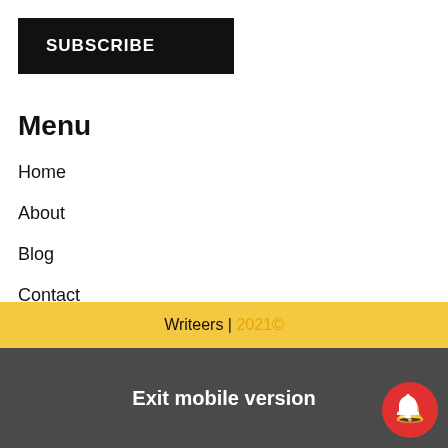SUBSCRIBE
Menu
Home
About
Blog
Contact
Writeers | 2021©
Exit mobile version